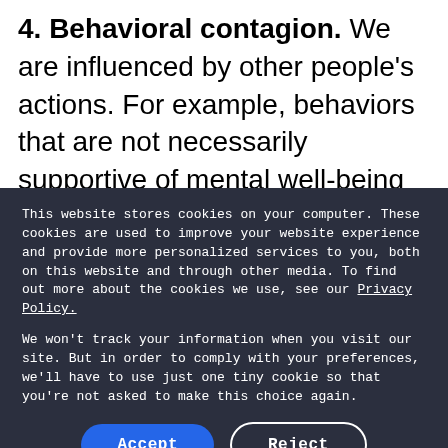4. Behavioral contagion. We are influenced by other people's actions. For example, behaviors that are not necessarily supportive of mental well-being like withdrawal or avoidance, are easily
This website stores cookies on your computer. These cookies are used to improve your website experience and provide more personalized services to you, both on this website and through other media. To find out more about the cookies we use, see our Privacy Policy.
We won't track your information when you visit our site. But in order to comply with your preferences, we'll have to use just one tiny cookie so that you're not asked to make this choice again.